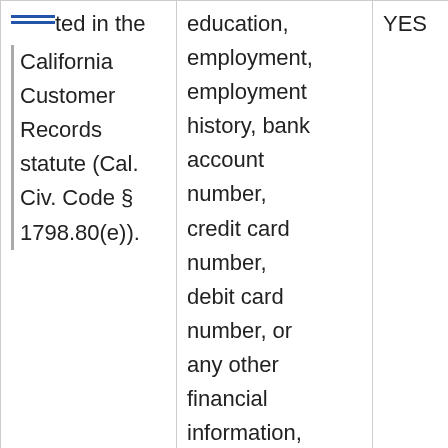| [continued] ...ted in the California Customer Records statute (Cal. Civ. Code § 1798.80(e)). | education, employment, employment history, bank account number, credit card number, debit card number, or any other financial information, medical information, | YES |